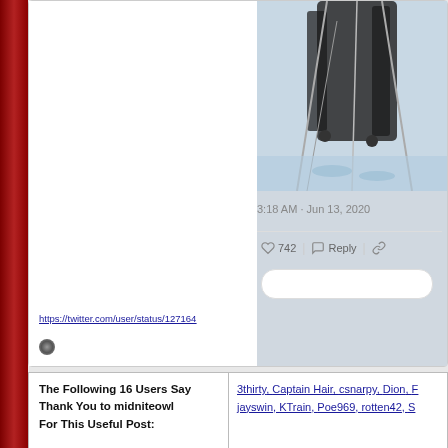[Figure (photo): Partial screenshot of a Twitter/social media post showing a photo of hockey skates/sticks on ice, timestamp 3:18 AM Jun 13, 2020, with 742 likes, Reply and link buttons visible, and a Twitter URL below.]
3:18 AM · Jun 13, 2020
742  Reply
https://twitter.com/user/status/127164...
| The Following 16 Users Say Thank You to midniteowl For This Useful Post: | 3thirty, Captain Hair, csnarpy, Dion, ... jayswin, KTrain, Poe969, rotten42, S... |
| --- | --- |